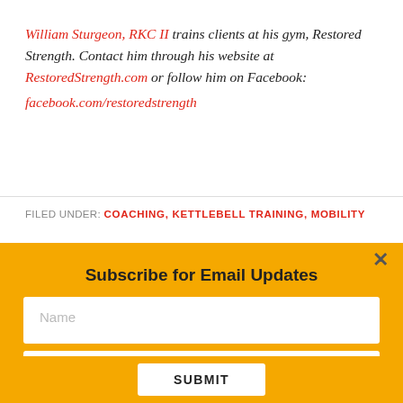William Sturgeon, RKC II trains clients at his gym, Restored Strength. Contact him through his website at RestoredStrength.com or follow him on Facebook: facebook.com/restoredstrength
FILED UNDER: COACHING, KETTLEBELL TRAINING, MOBILITY
Subscribe for Email Updates
Name
Email address
SUBMIT